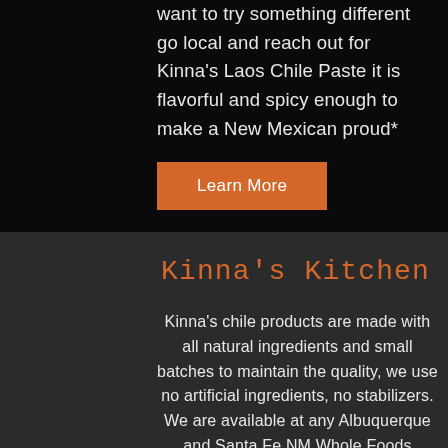want to try something different go local and reach out for Kinna's Laos Chile Paste it is flavorful and spicy enough to make a New Mexican proud*
Learn More
Kinna's Kitchen
Kinna's chile products are made with all natural ingredients and small batches to maintain the quality, we use no artificial ingredients, no stabilizers. We are available at any Albuquerque and Santa Fe NM Whole Foods Market, local co-op, and Ta-Lin